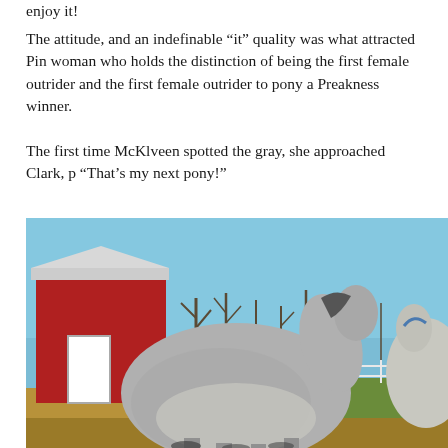enjoy it!
The attitude, and an indefinable “it” quality was what attracted Pin woman who holds the distinction of being the first female outrider and the first female outrider to pony a Preakness winner.
The first time McKlveen spotted the gray, she approached Clark, p “That’s my next pony!”
[Figure (photo): A gray horse standing in a paddock in front of a red barn with a white door. Trees and a blue sky are visible in the background. Another horse is partially visible to the right.]